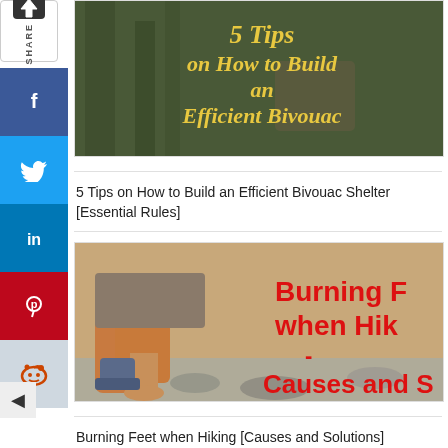[Figure (photo): Thumbnail image for article about building a bivouac shelter with yellow text overlay '5 Tips on How to Build an Efficient Bivouac']
5 Tips on How to Build an Efficient Bivouac Shelter [Essential Rules]
[Figure (photo): Thumbnail image showing person's legs/feet near a stream with red text overlay 'Burning F when Hik - Causes and S']
Burning Feet when Hiking [Causes and Solutions]
[Figure (photo): Partially visible thumbnail at bottom of page]